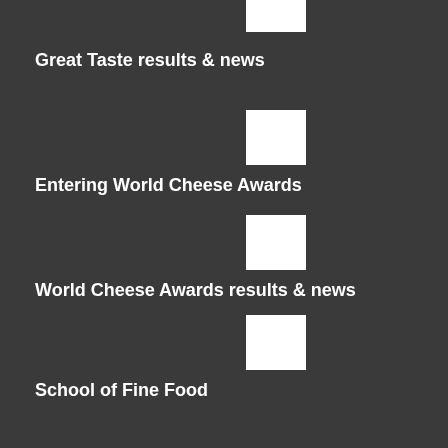Great Taste results & news
Entering World Cheese Awards
World Cheese Awards results & news
School of Fine Food
Reading Fine Food Digest
Fine Food Digest editorial and advertising opportunities